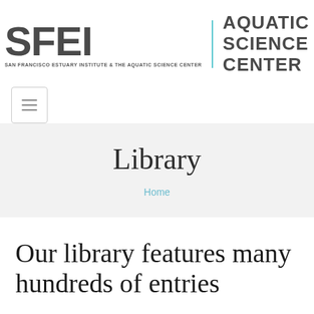[Figure (logo): SFEI Aquatic Science Center logo with large bold SFEI text, vertical teal divider line, AQUATIC SCIENCE CENTER text, and tagline SAN FRANCISCO ESTUARY INSTITUTE & THE AQUATIC SCIENCE CENTER]
[Figure (other): Hamburger menu button — square with border containing three horizontal lines]
Library
Home
Our library features many hundreds of entries